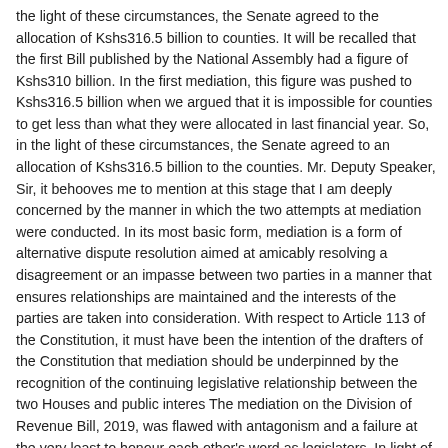the light of these circumstances, the Senate agreed to the allocation of Kshs316.5 billion to counties. It will be recalled that the first Bill published by the National Assembly had a figure of Kshs310 billion. In the first mediation, this figure was pushed to Kshs316.5 billion when we argued that it is impossible for counties to get less than what they were allocated in last financial year. So, in the light of these circumstances, the Senate agreed to an allocation of Kshs316.5 billion to the counties. Mr. Deputy Speaker, Sir, it behooves me to mention at this stage that I am deeply concerned by the manner in which the two attempts at mediation were conducted. In its most basic form, mediation is a form of alternative dispute resolution aimed at amicably resolving a disagreement or an impasse between two parties in a manner that ensures relationships are maintained and the interests of the parties are taken into consideration. With respect to Article 113 of the Constitution, it must have been the intention of the drafters of the Constitution that mediation should be underpinned by the recognition of the continuing legislative relationship between the two Houses and public interes The mediation on the Division of Revenue Bill, 2019, was flawed with antagonism and a failure at the very least to honour each other's word as legislators. In light of these circumstances, it is useful to remember that the power exercised by the three arms of